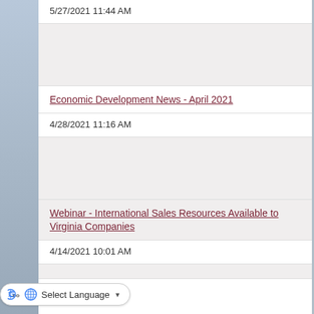5/27/2021 11:44 AM
Economic Development News - April 2021
4/28/2021 11:16 AM
Webinar - International Sales Resources Available to Virginia Companies
4/14/2021 10:01 AM
Select Language